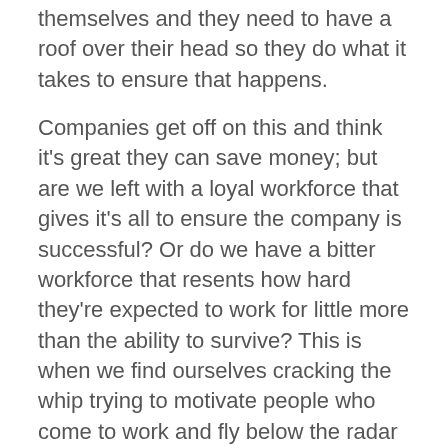themselves and they need to have a roof over their head so they do what it takes to ensure that happens.
Companies get off on this and think it's great they can save money; but are we left with a loyal workforce that gives it's all to ensure the company is successful? Or do we have a bitter workforce that resents how hard they're expected to work for little more than the ability to survive? This is when we find ourselves cracking the whip trying to motivate people who come to work and fly below the radar while using company time and resources to look for other jobs. So on the surface it seems like a cost cutting exercise, but, in reality, we're costing ourselves a lot more.